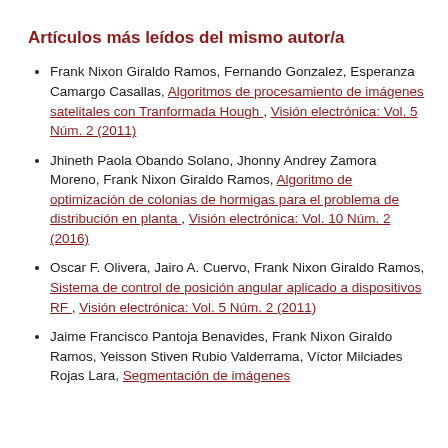Artículos más leídos del mismo autor/a
Frank Nixon Giraldo Ramos, Fernando Gonzalez, Esperanza Camargo Casallas, Algoritmos de procesamiento de imágenes satelitales con Tranformada Hough , Visión electrónica: Vol. 5 Núm. 2 (2011)
Jhineth Paola Obando Solano, Jhonny Andrey Zamora Moreno, Frank Nixon Giraldo Ramos, Algoritmo de optimización de colonias de hormigas para el problema de distribución en planta , Visión electrónica: Vol. 10 Núm. 2 (2016)
Oscar F. Olivera, Jairo A. Cuervo, Frank Nixon Giraldo Ramos, Sistema de control de posición angular aplicado a dispositivos RF , Visión electrónica: Vol. 5 Núm. 2 (2011)
Jaime Francisco Pantoja Benavides, Frank Nixon Giraldo Ramos, Yeisson Stiven Rubio Valderrama, Víctor Milciades Rojas Lara, Segmentación de imágenes utilizando...